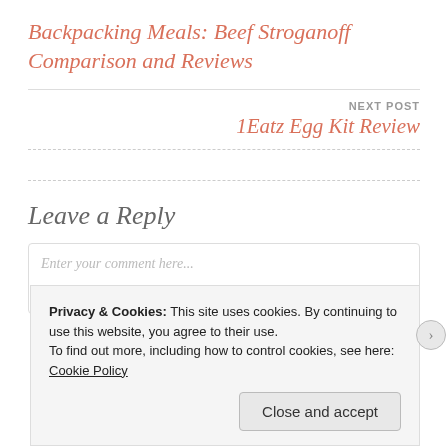Backpacking Meals: Beef Stroganoff Comparison and Reviews
NEXT POST
1Eatz Egg Kit Review
Leave a Reply
Enter your comment here...
Privacy & Cookies: This site uses cookies. By continuing to use this website, you agree to their use.
To find out more, including how to control cookies, see here: Cookie Policy
Close and accept